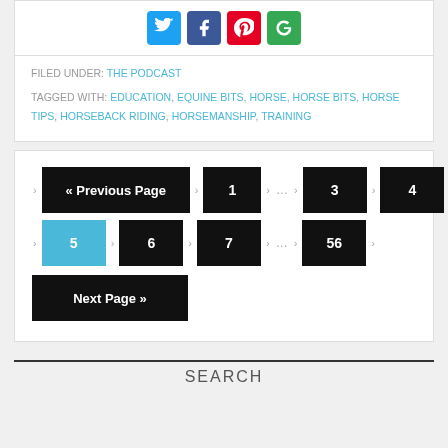[Figure (other): Social media share buttons: Twitter (blue), Facebook (dark blue), Pinterest (red), Google+ (green)]
FILED UNDER: THE PODCAST
TAGGED WITH: EDUCATION, EQUINE BITS, HORSE, HORSE BITS, HORSE TIPS, HORSEBACK RIDING, HORSEMANSHIP, TRAINING
« Previous Page  · 1 · ... · 3 · 4 · 5 (current) · 6 · 7 · ... · 56 · Next Page »
SEARCH